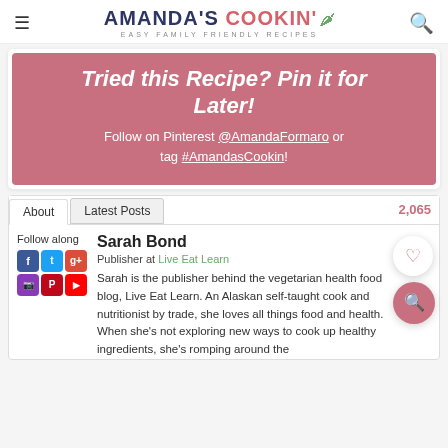AMANDA'S COOKIN' — EASY FAMILY FRIENDLY RECIPES
Tried this Recipe? Pin it for Later! Follow on Pinterest @AmandaFormaro or tag #AmandasCookin!
About | Latest Posts | 2,065
Follow along
Sarah Bond
Publisher at Live Eat Learn
Sarah is the publisher behind the vegetarian health food blog, Live Eat Learn. An Alaskan self-taught cook and nutritionist by trade, she loves all things food and health. When she's not exploring new ways to cook up healthy ingredients, she's romping around the